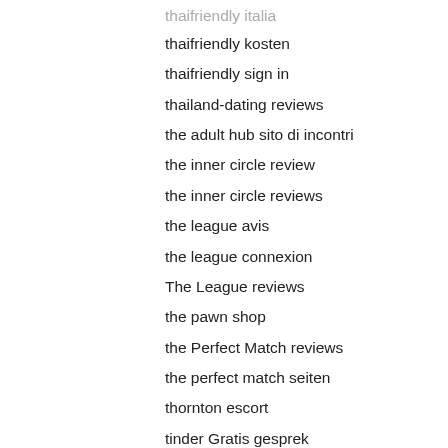thaifriendly italia
thaifriendly kosten
thaifriendly sign in
thailand-dating reviews
the adult hub sito di incontri
the inner circle review
the inner circle reviews
the league avis
the league connexion
The League reviews
the pawn shop
the Perfect Match reviews
the perfect match seiten
thornton escort
tinder Gratis gesprek
tinder pc
tinder review
tinder sign in